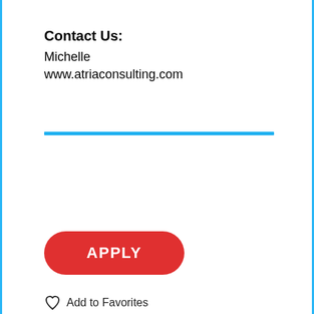Contact Us:
Michelle
www.atriaconsulting.com
[Figure (other): Horizontal cyan/blue divider line]
[Figure (other): Red rounded rectangle APPLY button]
Add to Favorites
[Figure (other): Blue Facebook Share button with Facebook logo icon]